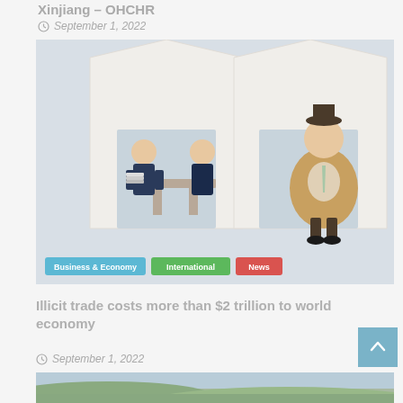Xinjiang – OHCHR
September 1, 2022
[Figure (photo): Two cartoon figurines of businessmen inside house-shaped shelves — one showing two men at a meeting table with stacked papers, the other showing a rotund man in a suit with a green tie standing alone.]
Business & Economy | International | News
Illicit trade costs more than $2 trillion to world economy
September 1, 2022
[Figure (photo): Partial view of a landscape/outdoor scene at the bottom of the page.]